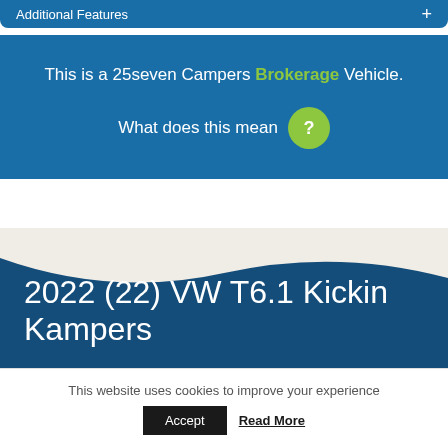Additional Features
This is a 25seven Campers Brokerage Vehicle.
What does this mean ?
[Figure (other): Wave transition divider between light beige background and dark blue section]
2022 (22) VW T6.1 Kickin Kampers
This website uses cookies to improve your experience
Accept  Read More